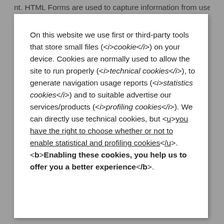On this website we use first or third-party tools that store small files (<i>cookie</i>) on your device. Cookies are normally used to allow the site to run properly (<i>technical cookies</i>), to generate navigation usage reports (<i>statistics cookies</i>) and to suitable advertise our services/products (<i>profiling cookies</i>). We can directly use technical cookies, but <u>you have the right to choose whether or not to enable statistical and profiling cookies</u>. <b>Enabling these cookies, you help us to offer you a better experience</b>.